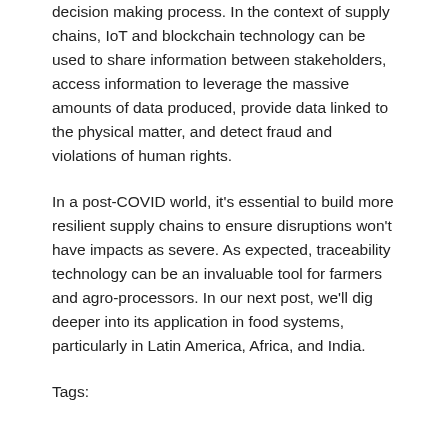decision making process. In the context of supply chains, IoT and blockchain technology can be used to share information between stakeholders, access information to leverage the massive amounts of data produced, provide data linked to the physical matter, and detect fraud and violations of human rights.
In a post-COVID world, it's essential to build more resilient supply chains to ensure disruptions won't have impacts as severe. As expected, traceability technology can be an invaluable tool for farmers and agro-processors. In our next post, we'll dig deeper into its application in food systems, particularly in Latin America, Africa, and India.
Tags: